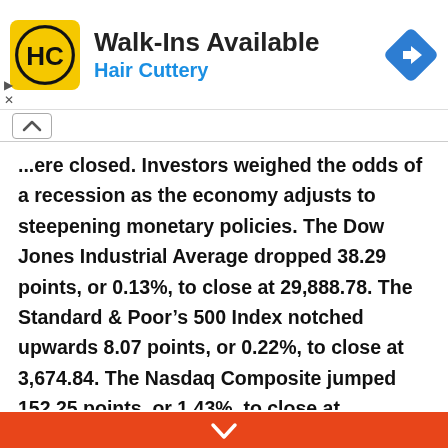[Figure (logo): Hair Cuttery advertisement banner with HC logo in yellow circle, text 'Walk-Ins Available' and 'Hair Cuttery' in blue, and a blue navigation arrow icon on the right]
...ere closed. Investors weighed the odds of a recession as the economy adjusts to steepening monetary policies. The Dow Jones Industrial Average dropped 38.29 points, or 0.13%, to close at 29,888.78. The Standard & Poor's 500 Index notched upwards 8.07 points, or 0.22%, to close at 3,674.84. The Nasdaq Composite jumped 152.25 points, or 1.43%, to close at 10,798.35. US crude oil tumbled Friday. The July future fell $8.03 to close at $109.56 per barrel.